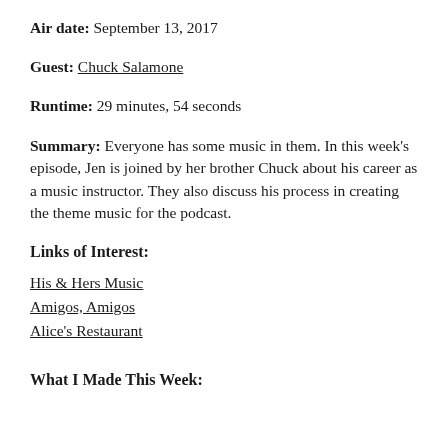Air date: September 13, 2017
Guest: Chuck Salamone
Runtime: 29 minutes, 54 seconds
Summary: Everyone has some music in them. In this week's episode, Jen is joined by her brother Chuck about his career as a music instructor. They also discuss his process in creating the theme music for the podcast.
Links of Interest:
His & Hers Music
Amigos, Amigos
Alice's Restaurant
What I Made This Week: